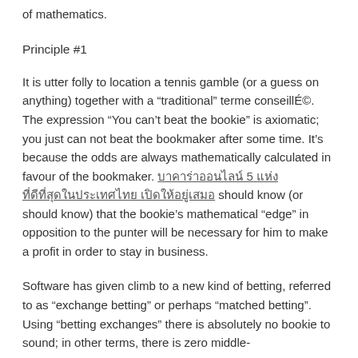of mathematics.
Principle #1
It is utter folly to location a tennis gamble (or a guess on anything) together with a “traditional” terme conseillÉ©. The expression “You can’t beat the bookie” is axiomatic; you just can not beat the bookmaker after some time. It’s because the odds are always mathematically calculated in favour of the bookmaker. บาคาร่าออนไลน์ 5 แห่ง ที่ดีที่สุดในประเทศไทย เปิดให้อยู่เสมอ should know (or should know) that the bookie’s mathematical “edge” in opposition to the punter will be necessary for him to make a profit in order to stay in business.
Software has given climb to a new kind of betting, referred to as “exchange betting” or perhaps “matched betting”. Using “betting exchanges” there is absolutely no bookie to sound; in other terms, there is zero middle-